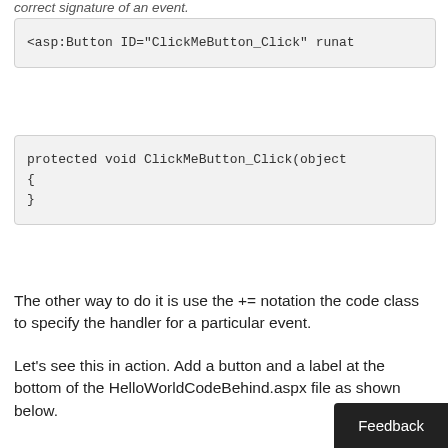correct signature of an event.
<asp:Button ID="ClickMeButton_Click" runat
protected void ClickMeButton_Click(object
{
}
The other way to do it is use the += notation the code class to specify the handler for a particular event.
Let's see this in action. Add a button and a label at the bottom of the HelloWorldCodeBehind.aspx file as shown below.